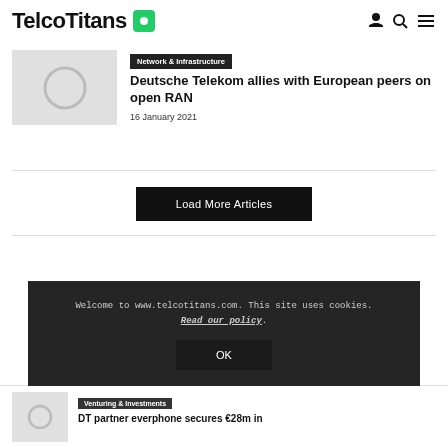TelcoTitans
[Figure (photo): Article thumbnail image placeholder (light grey with circle)]
Deutsche Telekom allies with European peers on open RAN
16 January 2021
Load More Articles
Welcome to www.telcotitans.com. This site uses cookies. Read our policy.
OK
[Figure (photo): Article thumbnail image placeholder (light grey with circle)]
Venturing & Investments
DT partner everphone secures €28m in